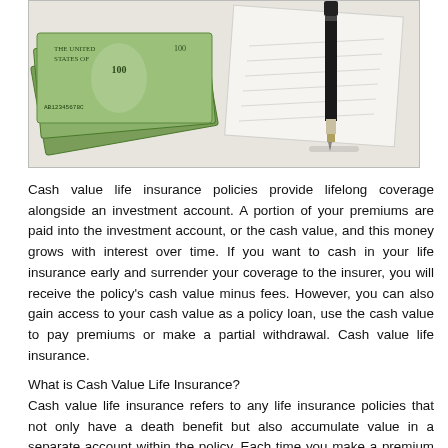[Figure (photo): Photo of US dollar bills fanned out next to a fountain pen resting on a lined document or book, suggesting financial planning and insurance concepts.]
Cash value life insurance policies provide lifelong coverage alongside an investment account. A portion of your premiums are paid into the investment account, or the cash value, and this money grows with interest over time. If you want to cash in your life insurance early and surrender your coverage to the insurer, you will receive the policy's cash value minus fees. However, you can also gain access to your cash value as a policy loan, use the cash value to pay premiums or make a partial withdrawal. Cash value life insurance.
What is Cash Value Life Insurance?
Cash value life insurance refers to any life insurance policies that not only have a death benefit but also accumulate value in a separate account within the policy. Each time you make a premium payment, part of the money goes towards the:
Cost of insurance - This is essentially the amount of money needed to provide the direct death benefit.